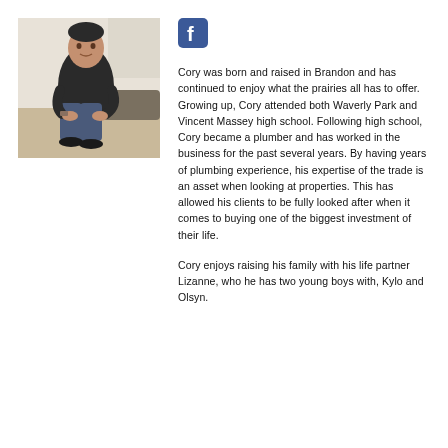[Figure (photo): A man wearing a dark jacket and jeans, sitting casually on a surface, resting his arms on his knees, in an indoor setting.]
[Figure (logo): Facebook logo icon (f in a rounded square)]
Cory was born and raised in Brandon and has continued to enjoy what the prairies all has to offer. Growing up, Cory attended both Waverly Park and Vincent Massey high school. Following high school, Cory became a plumber and has worked in the business for the past several years. By having years of plumbing experience, his expertise of the trade is an asset when looking at properties. This has allowed his clients to be fully looked after when it comes to buying one of the biggest investment of their life.
Cory enjoys raising his family with his life partner Lizanne, who he has two young boys with, Kylo and Olsyn.